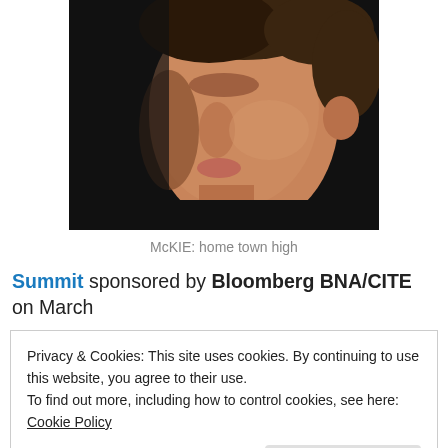[Figure (photo): Close-up profile photo of a young man with dark hair, viewed from the side/slightly turned, against a dark background]
McKIE: home town high
Summit sponsored by Bloomberg BNA/CITE on March
Privacy & Cookies: This site uses cookies. By continuing to use this website, you agree to their use.
To find out more, including how to control cookies, see here: Cookie Policy
Close and accept
...